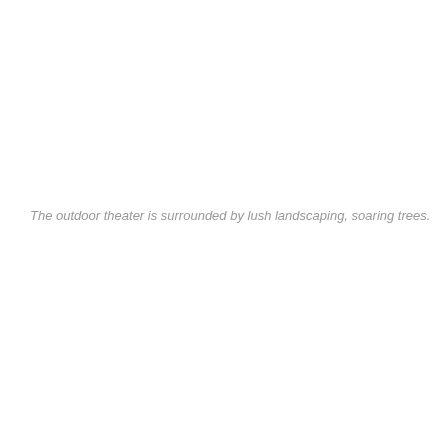The outdoor theater is surrounded by lush landscaping, soaring trees.